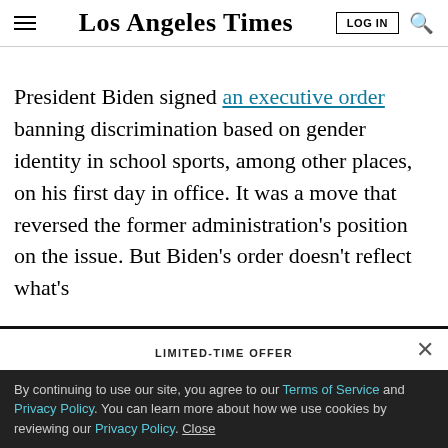Los Angeles Times — LOG IN
President Biden signed an executive order banning discrimination based on gender identity in school sports, among other places, on his first day in office. It was a move that reversed the former administration's position on the issue. But Biden's order doesn't reflect what's
LIMITED-TIME OFFER
$1 for 6 Months
SUBSCRIBE NOW
By continuing to use our site, you agree to our Terms of Service and Privacy Policy. You can learn more about how we use cookies by reviewing our Privacy Policy. Close